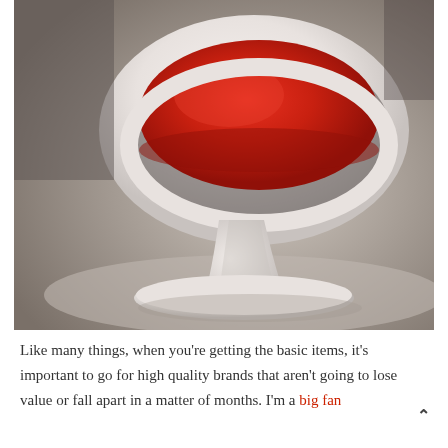[Figure (photo): Close-up photograph of a white tulip-style pedestal chair with a round red cushioned seat, shot from a low angle against a light grey background.]
Like many things, when you’re getting the basic items, it’s important to go for high quality brands that aren’t going to lose value or fall apart in a matter of months. I’m a big fan